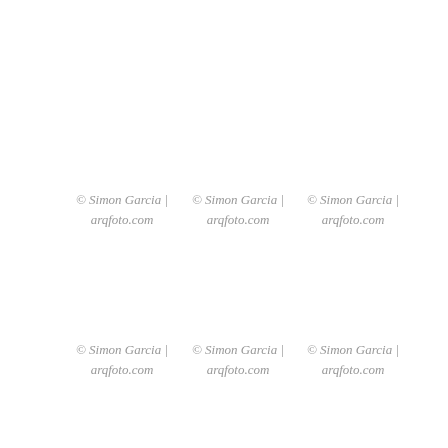© Simon Garcia | arqfoto.com
© Simon Garcia | arqfoto.com
© Simon Garcia | arqfoto.com
© Simon Garcia | arqfoto.com
© Simon Garcia | arqfoto.com
© Simon Garcia | arqfoto.com